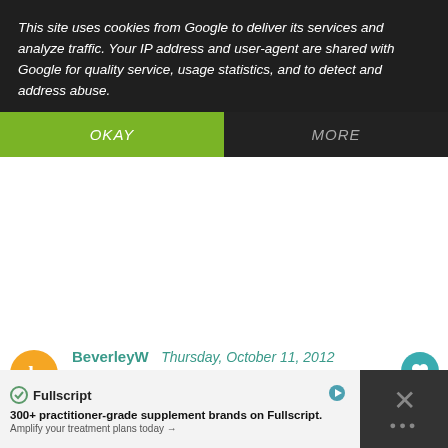This site uses cookies from Google to deliver its services and analyze traffic. Your IP address and user-agent are shared with Google for quality service, usage statistics, and to detect and address abuse.
OKAY
MORE
BeverleyW  Thursday, October 11, 2012
My favorite fall memory is playing in the leaves
Reply
BeverleyW  Thursday, October 11, 2012
I follow Gooseberry patch on facebook
Reply
WHAT'S NEXT → Gooseberry Patch The...
Fullscript
300+ practitioner-grade supplement brands on Fullscript.
Amplify your treatment plans today →